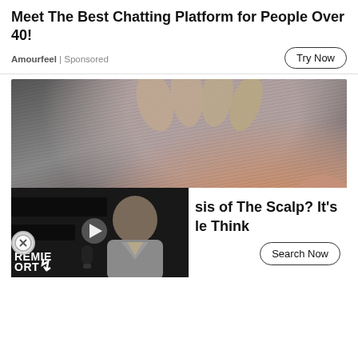Meet The Best Chatting Platform for People Over 40!
Amourfeel | Sponsored
[Figure (photo): Close-up photo of a person's scalp and hair being touched by fingers, showing grey/white hair and scalp skin near the ear]
[Figure (screenshot): Video overlay thumbnail showing a man in a suit with GALACTICOS text in green, GOATS in red, and REMIE/ORT text in white on dark background, with a play button]
sis of The Scalp? It's le Think
Search Now